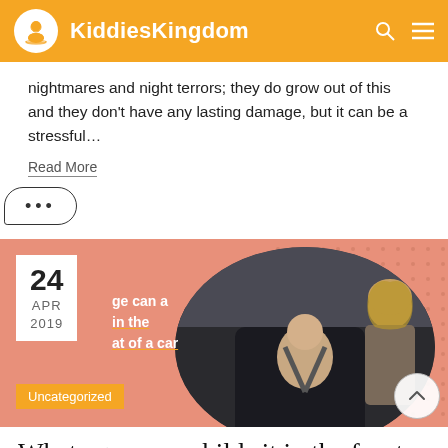KiddiesKingdom
nightmares and night terrors; they do grow out of this and they don't have any lasting damage, but it can be a stressful…
Read More
[Figure (illustration): Speech bubble / ellipsis (more options) button showing three dots]
[Figure (photo): Blog card image dated 24 APR 2019 with a photo of a baby in a rear-facing car seat and a woman looking at the baby, partially overlaid with article title text. Category tag: Uncategorized.]
What age can a child sit in the front